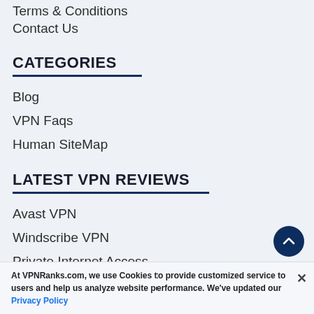Terms & Conditions
Contact Us
CATEGORIES
Blog
VPN Faqs
Human SiteMap
LATEST VPN REVIEWS
Avast VPN
Windscribe VPN
Private Internet Access
IPVanish
TunnelBear
At VPNRanks.com, we use Cookies to provide customized service to users and help us analyze website performance. We've updated our Privacy Policy